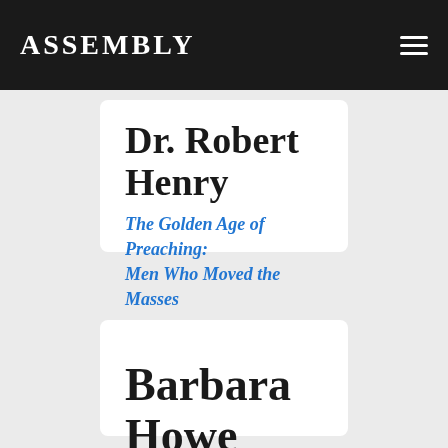ASSEMBLY
Dr. Robert Henry
The Golden Age of Preaching: Men Who Moved the Masses
Author Bio
Barbara Howe